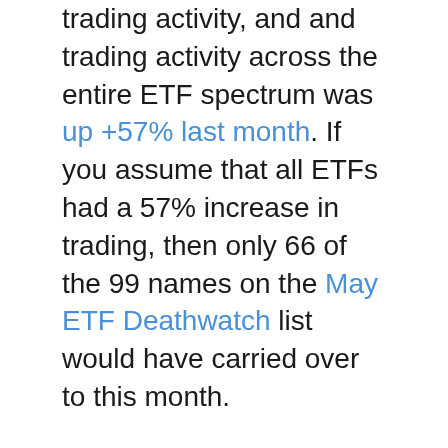trading activity, and and trading activity across the entire ETF spectrum was up +57% last month.  If you assume that all ETFs had a 57% increase in trading, then only 66 of the 99 names on the May ETF Deathwatch list would have carried over to this month.
Second, the closing of 12 leveraged ETFs from Rydex means fewer products were eligible this month.  Third, 116 new ETFs and ETNs came out in the last six months that are currently excluded from eligibility.  Many of those products will find their way to this list in the next few months.
I think this all adds up to a temporary decline in the number of products on the list.  My guess is that the Deathwatch list will be back up in triple digits before the summer is over.